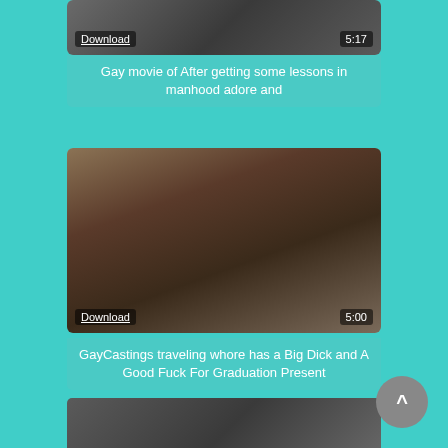[Figure (screenshot): Partially visible video thumbnail at top of page with Download link and 5:17 timestamp]
Gay movie of After getting some lessons in manhood adore and
[Figure (screenshot): Video thumbnail showing two men on a bed, with Download link and 5:00 timestamp]
GayCastings traveling whore has a Big Dick and A Good Fuck For Graduation Present
[Figure (screenshot): Partially visible video thumbnail at bottom of page]